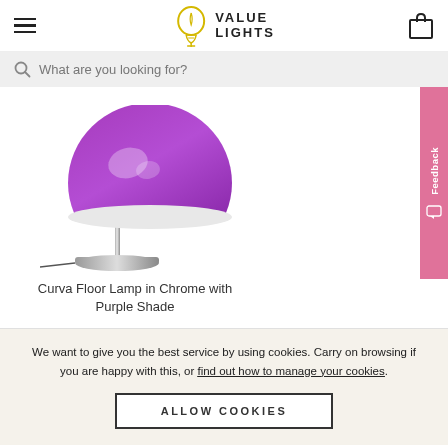VALUE LIGHTS
What are you looking for?
[Figure (photo): Curva Floor Lamp in Chrome with a large glossy purple dome shade and chrome stand on a circular base]
Curva Floor Lamp in Chrome with Purple Shade
We want to give you the best service by using cookies. Carry on browsing if you are happy with this, or find out how to manage your cookies.
ALLOW COOKIES